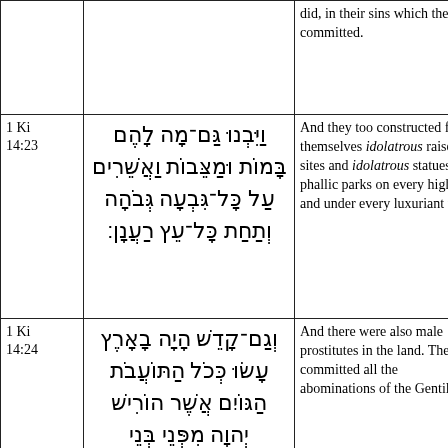| Reference | Hebrew | English |
| --- | --- | --- |
|  |  | did, in their sins which they committed. |
| 1 Ki 14:23 | וַיִּבְנוּ גַּם־מָה לָהֶם בָּמוֹת וּמַצֵּבוֹת וַאֲשֵׁרִים עַל כָּל־גִּבְעָה גְּבֹהָה וְתַחַת כָּל־עֵץ רַעֲנָן׃ | And they too constructed for themselves idolatrous raised sites and idolatrous statues and phallic parks on every high hill and under every luxuriant tree. |
| 1 Ki 14:24 | וְגַם־קָדֵשׁ הָיָה בָאָרֶץ עָשׂוּ כְּכֹל הַתּוֹעֲבֹת הַגּוֹיִם אֲשֶׁר הוֹרִישׁ יְהוָה מִפְּנֵי בְּנֵי יִשְׂרָאֵל׃ | And there were also male prostitutes in the land. They committed all the abominations of the Gentiles |